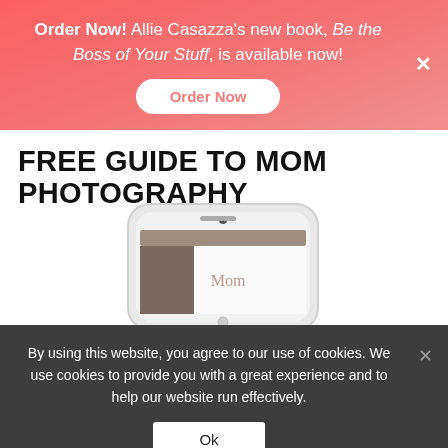Order Now! Allie Casazza's new book, Be the Boss of Your Stuff, is available now!
FREE GUIDE TO MOM PHOTOGRAPHY
[Figure (photo): Phone mockup showing a mom photography guide app/book screen with the word 'Mom' visible]
By using this website, you agree to our use of cookies. We use cookies to provide you with a great experience and to help our website run effectively.